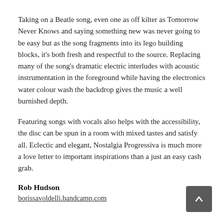Taking on a Beatle song, even one as off kilter as Tomorrow Never Knows and saying something new was never going to be easy but as the song fragments into its lego building blocks, it's both fresh and respectful to the source. Replacing many of the song's dramatic electric interludes with acoustic instrumentation in the foreground while having the electronics water colour wash the backdrop gives the music a well burnished depth.
Featuring songs with vocals also helps with the accessibility, the disc can be spun in a room with mixed tastes and satisfy all. Eclectic and elegant, Nostalgia Progressiva is much more a love letter to important inspirations than a just an easy cash grab.
Rob Hudson
borissavoldelli.bandcamp.com